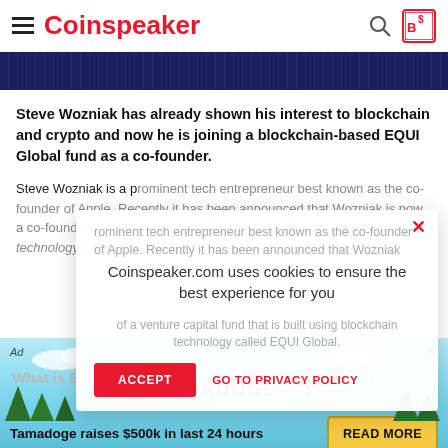Coinspeaker
[Figure (screenshot): Dark navy banner image with repeating patterns]
Steve Wozniak has already shown his interest to blockchain and crypto and now he is joining a blockchain-based EQUI Global fund as a co-founder.
Steve Wozniak is a prominent tech entrepreneur best known as the co-founder of Apple. Recently it has been announced that Wozniak is now a co-founder of a venture capital fund that is built using blockchain technology called EQUI Global.
[Figure (screenshot): Cookie consent modal overlay with accept button and privacy policy link]
What is EQUI Global?
EQUI Global is an Ethereum-based venture capital fund that is
[Figure (screenshot): Tamadoge advertisement banner at the bottom with text: Tamadoge raises $500k in last 24 hours and READ MORE button]